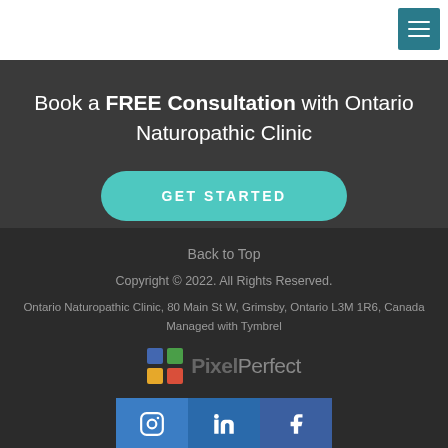[Figure (other): Hamburger menu icon button in teal/dark-cyan color in the top right corner]
Book a FREE Consultation with Ontario Naturopathic Clinic
GET STARTED
Back to Top
Copyright © 2022. All Rights Reserved.
Ontario Naturopathic Clinic, 80 Main St W, Grimsby, Ontario L3M 1R6, Canada
Managed with Tymbrel
[Figure (logo): PixelPerfect logo with colorful grid icon]
[Figure (other): Social media icons: Instagram, LinkedIn, Facebook]